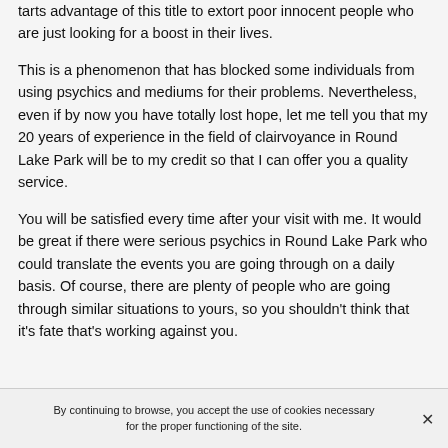tarts advantage of this title to extort poor innocent people who are just looking for a boost in their lives.
This is a phenomenon that has blocked some individuals from using psychics and mediums for their problems. Nevertheless, even if by now you have totally lost hope, let me tell you that my 20 years of experience in the field of clairvoyance in Round Lake Park will be to my credit so that I can offer you a quality service.
You will be satisfied every time after your visit with me. It would be great if there were serious psychics in Round Lake Park who could translate the events you are going through on a daily basis. Of course, there are plenty of people who are going through similar situations to yours, so you shouldn't think that it's fate that's working against you.
By continuing to browse, you accept the use of cookies necessary for the proper functioning of the site.